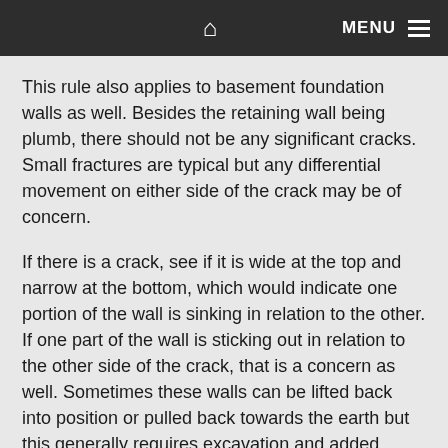🏠  MENU
This rule also applies to basement foundation walls as well. Besides the retaining wall being plumb, there should not be any significant cracks. Small fractures are typical but any differential movement on either side of the crack may be of concern.
If there is a crack, see if it is wide at the top and narrow at the bottom, which would indicate one portion of the wall is sinking in relation to the other. If one part of the wall is sticking out in relation to the other side of the crack, that is a concern as well. Sometimes these walls can be lifted back into position or pulled back towards the earth but this generally requires excavation and added structural support.
Joe Konopacki